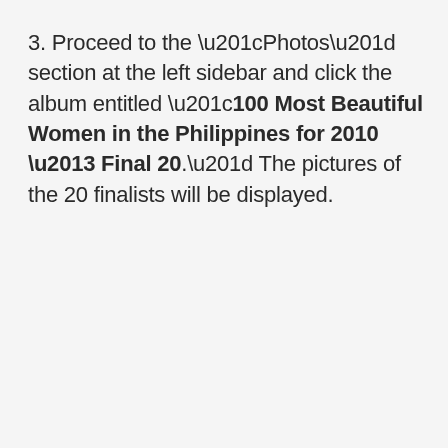3. Proceed to the “Photos” section at the left sidebar and click the album entitled “100 Most Beautiful Women in the Philippines for 2010 – Final 20.” The pictures of the 20 finalists will be displayed.